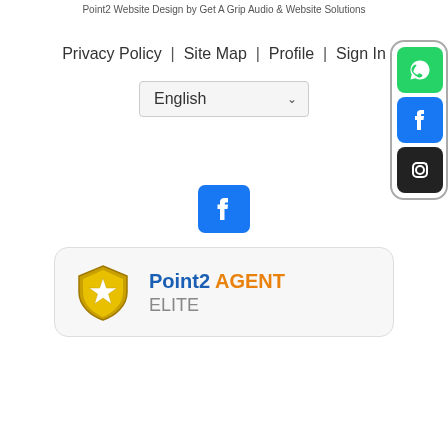Point2 Website Design by Get A Grip Audio & Website Solutions
Privacy Policy  |  Site Map  |  Profile  |  Sign In
[Figure (screenshot): Language dropdown selector showing 'English' with a downward chevron]
[Figure (infographic): Social media sidebar with WhatsApp (green), Facebook (blue), and Instagram (dark) icons in a rounded rectangle border]
[Figure (logo): Facebook logo icon (blue square with white f)]
[Figure (logo): Point2 Agent Elite badge with gold shield and star, text: Point2 AGENT ELITE]